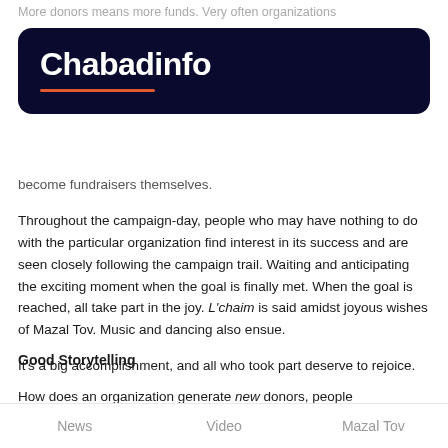More donors means more funds. Very often organizations
[Figure (logo): Chabadinfo logo on dark navy background with orange underline]
become fundraisers themselves.
Throughout the campaign-day, people who may have nothing to do with the particular organization find interest in its success and are seen closely following the campaign trail. Waiting and anticipating the exciting moment when the goal is finally met. When the goal is reached, all take part in the joy. L'chaim is said amidst joyous wishes of Mazal Tov. Music and dancing also ensue.

It's a big accomplishment, and all who took part deserve to rejoice.
Good Storytelling
How does an organization generate new donors, people
News    Video    Mazal Tov